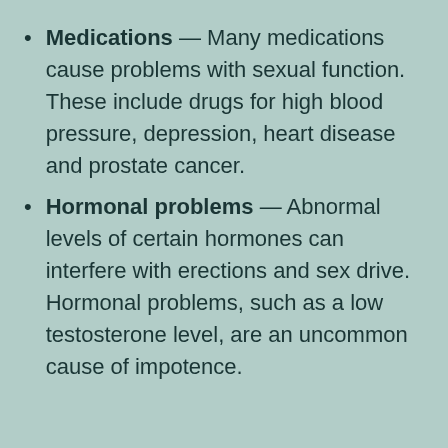Medications — Many medications cause problems with sexual function. These include drugs for high blood pressure, depression, heart disease and prostate cancer.
Hormonal problems — Abnormal levels of certain hormones can interfere with erections and sex drive. Hormonal problems, such as a low testosterone level, are an uncommon cause of impotence.